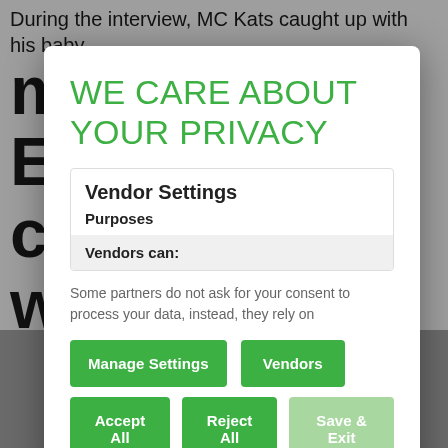During the interview, MC Kats caught up with his baby m... E... c... w...
WE CARE ABOUT YOUR PRIVACY
Vendor Settings
Purposes
Vendors can:
Some partners do not ask for your consent to process your data, instead, they rely on
Manage Settings
Vendors
Accept All
Reject All
Save & Exit